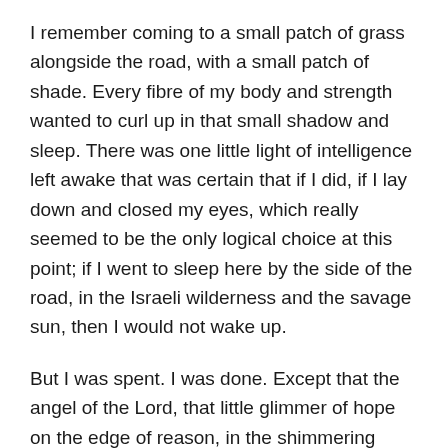I remember coming to a small patch of grass alongside the road, with a small patch of shade. Every fibre of my body and strength wanted to curl up in that small shadow and sleep. There was one little light of intelligence left awake that was certain that if I did, if I lay down and closed my eyes, which really seemed to be the only logical choice at this point; if I went to sleep here by the side of the road, in the Israeli wilderness and the savage sun, then I would not wake up.
But I was spent. I was done. Except that the angel of the Lord, that little glimmer of hope on the edge of reason, in the shimmering borders of sight, wondered if I might make it round one more bend, just to check if the kibbutz might by some miracle be there after all.
I have some sympathy with Elijah, lying down by the side